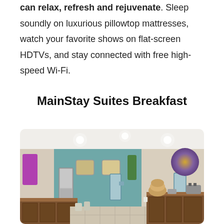can relax, refresh and rejuvenate. Sleep soundly on luxurious pillowtop mattresses, watch your favorite shows on flat-screen HDTVs, and stay connected with free high-speed Wi-Fi.
MainStay Suites Breakfast
[Figure (photo): Interior photo of a MainStay Suites breakfast room. The room features a U-shaped counter/cabinet setup with dark wood finish, a teal accent wall in the back, beige walls on the sides, recessed ceiling lights, decorative artwork on the walls, a beverage station, refrigerator, a toaster on the right counter, and food items displayed on the countertops. The floor has a light tile pattern.]